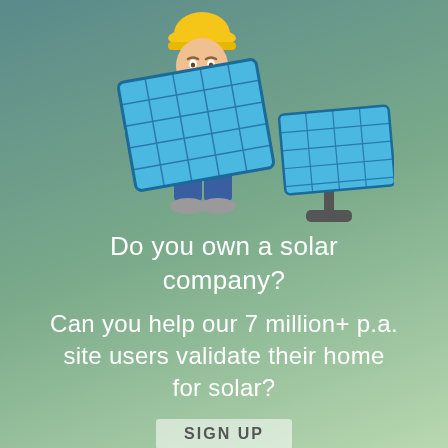[Figure (illustration): Cartoon illustration of a man in a yellow hard hat and blue work clothes holding a large solar panel, with another solar panel on a stand to his right, set against a green-teal gradient background.]
Do you own a solar company?
Can you help our 7 million+ p.a. site users validate their home for solar?
SIGN UP